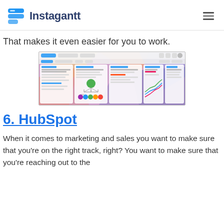Instagantt
That makes it even easier for you to work.
[Figure (screenshot): Screenshot of an Agile Board project management tool interface showing Kanban-style columns with tasks, a tree/mind map diagram with colorful circles, and a line graph with multiple colored lines on a colorful geometric background.]
6. HubSpot
When it comes to marketing and sales you want to make sure that you’re on the right track, right? You want to make sure that you’re reaching out to the